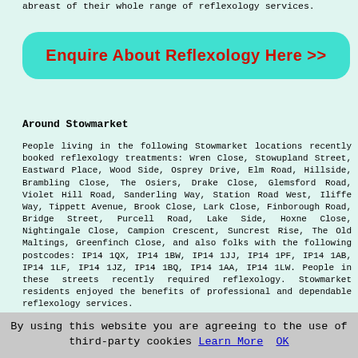abreast of their whole range of reflexology services.
[Figure (other): Cyan rounded button with bold red text: Enquire About Reflexology Here >>]
Around Stowmarket
People living in the following Stowmarket locations recently booked reflexology treatments: Wren Close, Stowupland Street, Eastward Place, Wood Side, Osprey Drive, Elm Road, Hillside, Brambling Close, The Osiers, Drake Close, Glemsford Road, Violet Hill Road, Sanderling Way, Station Road West, Iliffe Way, Tippett Avenue, Brook Close, Lark Close, Finborough Road, Bridge Street, Purcell Road, Lake Side, Hoxne Close, Nightingale Close, Campion Crescent, Suncrest Rise, The Old Maltings, Greenfinch Close, and also folks with the following postcodes: IP14 1QX, IP14 1BW, IP14 1JJ, IP14 1PF, IP14 1AB, IP14 1LF, IP14 1JZ, IP14 1BQ, IP14 1AA, IP14 1LW. People in these streets recently required reflexology. Stowmarket residents enjoyed the benefits of professional and dependable reflexology services.
By using this website you are agreeing to the use of third-party cookies Learn More OK